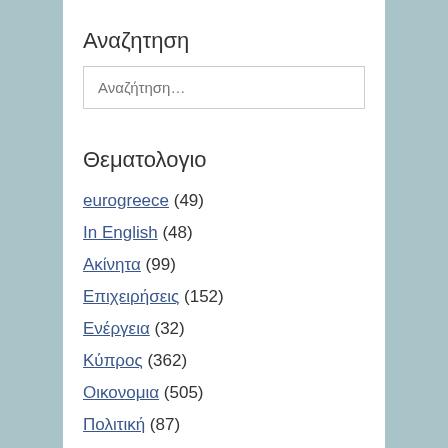Αναζητηση
Αναζήτηση…
Θεματολογιο
eurogreece (49)
In English (48)
Ακίνητα (99)
Επιχειρήσεις (152)
Ενέργεια (32)
Κύπρος (362)
Οικονομια (505)
Πολιτική (87)
Συνεντεύξεις (8)